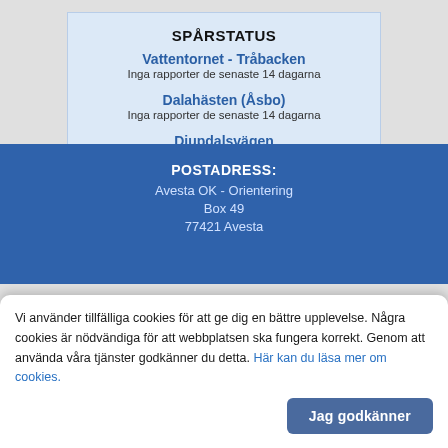SPÅRSTATUS
Vattentornet - Tråbacken
Inga rapporter de senaste 14 dagarna
Dalahästen (Åsbo)
Inga rapporter de senaste 14 dagarna
Djupdalsvägen
Inga rapporter de senaste 14 dagarna
Lämna spårstatusrapport »
[Figure (logo): skidspar.se logo on dark blue background]
POSTADRESS:
Avesta OK - Orientering
Box 49
77421 Avesta
Vi använder tillfälliga cookies för att ge dig en bättre upplevelse. Några cookies är nödvändiga för att webbplatsen ska fungera korrekt. Genom att använda våra tjänster godkänner du detta. Här kan du läsa mer om cookies.